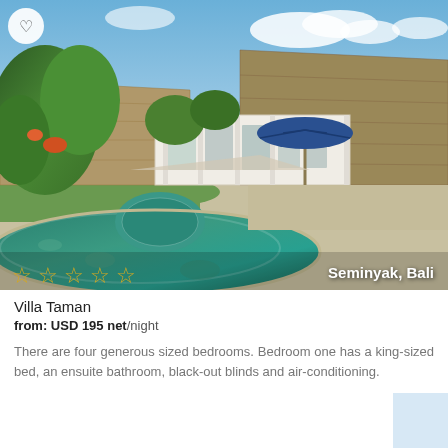[Figure (photo): Outdoor photo of Villa Taman in Seminyak, Bali showing a tropical villa with thatched roofs, white buildings, lush greenery, lounge chairs, a blue umbrella, and a large turquoise kidney-shaped swimming pool in the foreground. A heart/favorite button appears top-left. Star rating (5 empty stars) at bottom-left. Location label 'Seminyak, Bali' at bottom-right.]
Villa Taman
from: USD 195 net / night
There are four generous sized bedrooms. Bedroom one has a king-sized bed, an ensuite bathroom, black-out blinds and air-conditioning.